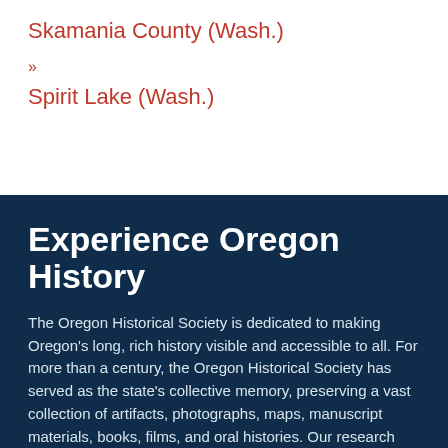Skamania County (Wash.)
Spirit Lake (Wash.)
Experience Oregon History
The Oregon Historical Society is dedicated to making Oregon's long, rich history visible and accessible to all. For more than a century, the Oregon Historical Society has served as the state's collective memory, preserving a vast collection of artifacts, photographs, maps, manuscript materials, books, films, and oral histories. Our research library, museum, digital platform, educational programming, and historical journal make Oregon's histo…